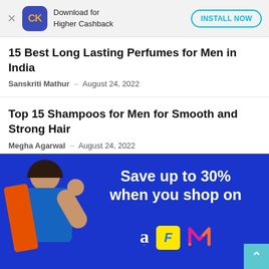[Figure (infographic): App install banner for CK (Cashkaro) with orange/blue logo, text 'Download for Higher Cashback', and 'INSTALL NOW' button]
15 Best Long Lasting Perfumes for Men in India
Sanskriti Mathur – August 24, 2022
Top 15 Shampoos for Men for Smooth and Strong Hair
Megha Agarwal – August 24, 2022
[Figure (infographic): Blue advertisement banner showing 'Save up to 30% when you shop on' with Amazon, Flipkart, and Myntra logos, and a person celebrating on the left side]